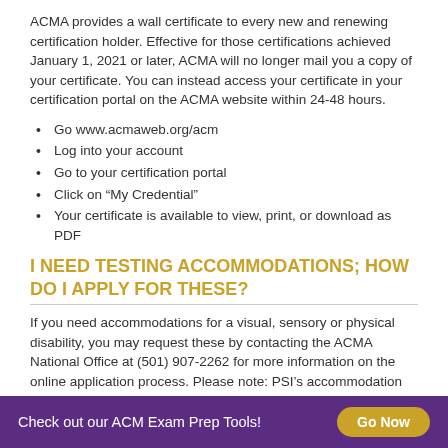ACMA provides a wall certificate to every new and renewing certification holder. Effective for those certifications achieved January 1, 2021 or later, ACMA will no longer mail you a copy of your certificate. You can instead access your certificate in your certification portal on the ACMA website within 24-48 hours.
Go www.acmaweb.org/acm
Log into your account
Go to your certification portal
Click on “My Credential”
Your certificate is available to view, print, or download as PDF
I NEED TESTING ACCOMMODATIONS; HOW DO I APPLY FOR THESE?
If you need accommodations for a visual, sensory or physical disability, you may request these by contacting the ACMA National Office at (501) 907-2262 for more information on the online application process. Please note: PSI’s accommodation team will
Check out our ACM Exam Prep Tools! Go Now